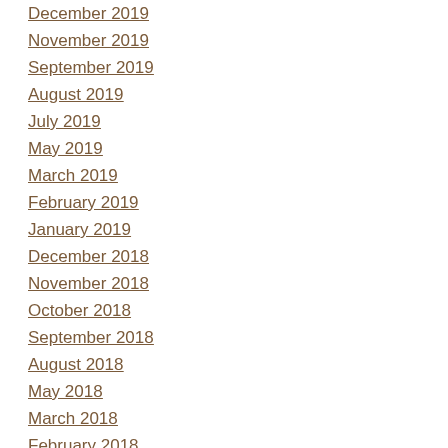December 2019
November 2019
September 2019
August 2019
July 2019
May 2019
March 2019
February 2019
January 2019
December 2018
November 2018
October 2018
September 2018
August 2018
May 2018
March 2018
February 2018
January 2018
December 2017